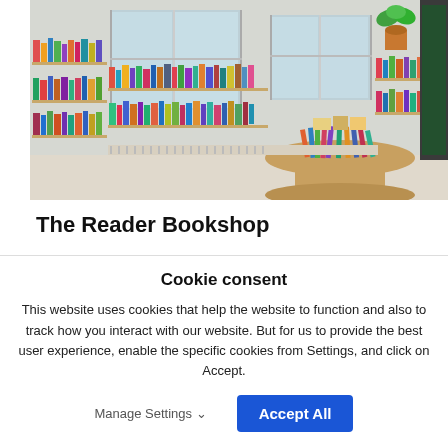[Figure (photo): Interior of The Reader Bookshop showing colorful books arranged on wooden shelves along the walls, a round display table in the foreground, large windows letting in natural light, and plants for decoration.]
The Reader Bookshop
Find something real to take home when the day is done - beautiful literary gifts for all ages.
Cookie consent
This website uses cookies that help the website to function and also to track how you interact with our website. But for us to provide the best user experience, enable the specific cookies from Settings, and click on Accept.
Manage Settings ∨
Accept All